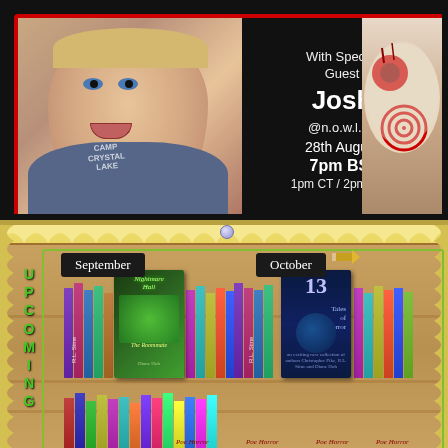[Figure (photo): Top panel with red/white candy stripe border. Left half shows a young blond man making a surprised face wearing a gray 'Camp Crystal Lake' shirt. Upper center shows a green monster/alien logo. Right side shows black background with handwritten-style white text reading 'With Special Guest Josh @n.o.w.l.91 28th August 7pm BSt 1pm CT / 2pm EST'. Far right shows the Jigsaw puppet/mask from the Saw horror films.]
[Figure (photo): Bottom panel with tan/gold scalloped border on a wood-plank background. Left side has vertical green text spelling UPCOMING. Center-left shows September header (black chalkboard label) with book covers including 'Nightmare Hall' and 'The Roommate' by Diane Hoh, and R.L. Stine books. Center-right shows October header with book cover '13 Tales of Horror'. Lower portion shows more colorful book spines arranged on wooden shelves.]